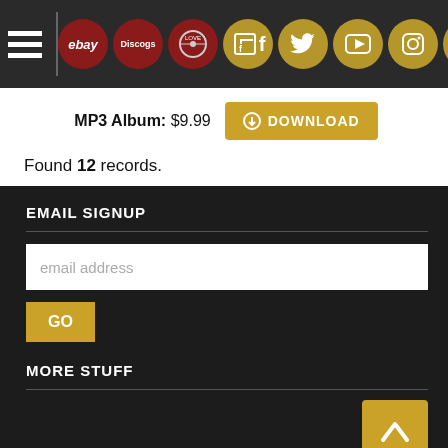Navigation bar with hamburger menu and social/store icons: eBay, Discogs, logo, Facebook, Twitter, YouTube, Instagram, Mail
MP3 Album: $9.99 DOWNLOAD
Found 12 records.
EMAIL SIGNUP
email address
GO
MORE STUFF
FEATURED GENRES